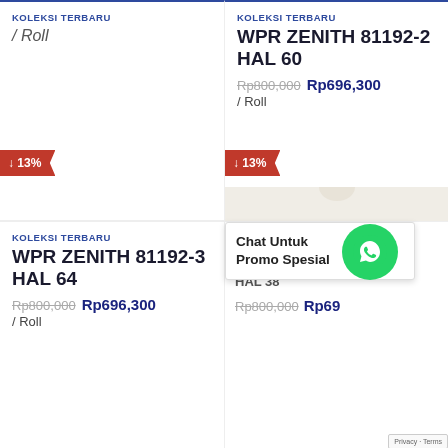KOLEKSI TERBARU
/ Roll
KOLEKSI TERBARU
WPR ZENITH 81192-2 HAL 60
Rp800,000 Rp696,300 / Roll
[Figure (illustration): Wallpaper product image showing light beige/cream damask pattern]
KOLEKSI TERBARU
WPR ZENITH 81192-3 HAL 64
Rp800,000 Rp696,300 / Roll
Chat Untuk Promo Spesial
HAL 38
Rp800,000 Rp69...